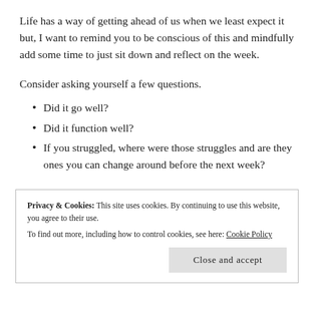Life has a way of getting ahead of us when we least expect it but, I want to remind you to be conscious of this and mindfully add some time to just sit down and reflect on the week.
Consider asking yourself a few questions.
Did it go well?
Did it function well?
If you struggled, where were those struggles and are they ones you can change around before the next week?
Privacy & Cookies: This site uses cookies. By continuing to use this website, you agree to their use.
To find out more, including how to control cookies, see here: Cookie Policy
Close and accept